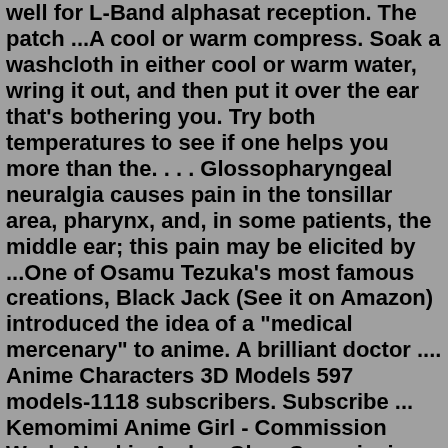well for L-Band alphasat reception. The patch ...A cool or warm compress. Soak a washcloth in either cool or warm water, wring it out, and then put it over the ear that's bothering you. Try both temperatures to see if one helps you more than the. . . . Glossopharyngeal neuralgia causes pain in the tonsillar area, pharynx, and, in some patients, the middle ear; this pain may be elicited by ...One of Osamu Tezuka's most famous creations, Black Jack (See it on Amazon) introduced the idea of a "medical mercenary" to anime. A brilliant doctor .... Anime Characters 3D Models 597 models-1118 subscribers. Subscribe ... Kemomimi Anime Girl - Commission Work. Nunki - Amber Glow Commission Work.. hansom cab pub. new modular homes for sale in utah. uaw otc catalog 2022. trees of mystery photos. Who May Obtain an Event Permit (Type 77) Any licensee holding an on-sale beer and wine (Type 41, or 42), on-sale general (Type 47, 48 or 57), on-sale general wine, food and art culture museum (Type 78), a neighborhood restricted special on-sale general (Type